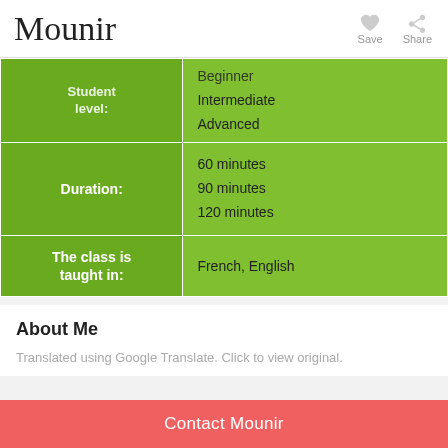Mounir
| Label | Value |
| --- | --- |
| Student level: | Beginner
Intermediate
Advanced |
| Duration: | 60 minutes
90 minutes
120 minutes |
| The class is taught in: | French, English |
About Me
Translated using Google Translate. Click to view original.
Contact Mounir